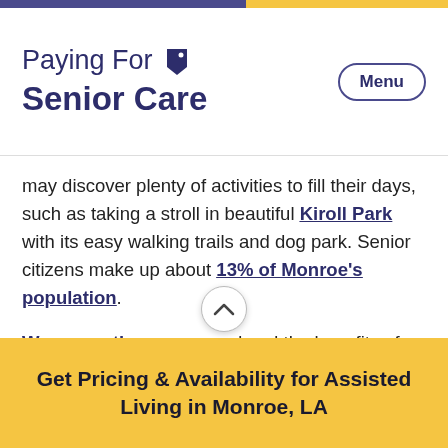Paying For Senior Care — Menu
may discover plenty of activities to fill their days, such as taking a stroll in beautiful Kiroll Park with its easy walking trails and dog park. Senior citizens make up about 13% of Monroe's population.
Warm weather year-round and the benefits of living in a midsized community can be attractive for retirees. In addition to the plentiful outdoor activities, Monroe also has several shopping centers and a thriving downtown area with coffee shops, boutiques and an art museum.
Get Pricing & Availability for Assisted Living in Monroe, LA